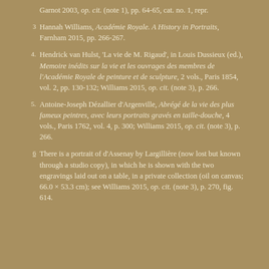Garnot 2003, op. cit. (note 1), pp. 64-65, cat. no. 1, repr.
3  Hannah Williams, Académie Royale. A History in Portraits, Farnham 2015, pp. 266-267.
4.  Hendrick van Hulst, 'La vie de M. Rigaud', in Louis Dussieux (ed.), Memoire inédits sur la vie et les ouvrages des membres de l'Académie Royale de peinture et de sculpture, 2 vols., Paris 1854, vol. 2, pp. 130-132; Williams 2015, op. cit. (note 3), p. 266.
5.  Antoine-Joseph Dézallier d'Argenville, Abrégé de la vie des plus fameux peintres, avec leurs portraits gravés en taille-douche, 4 vols., Paris 1762, vol. 4, p. 300; Williams 2015, op. cit. (note 3), p. 266.
6  There is a portrait of d'Assenay by Largillière (now lost but known through a studio copy), in which he is shown with the two engravings laid out on a table, in a private collection (oil on canvas; 66.0 × 53.3 cm); see Williams 2015, op. cit. (note 3), p. 270, fig. 614.